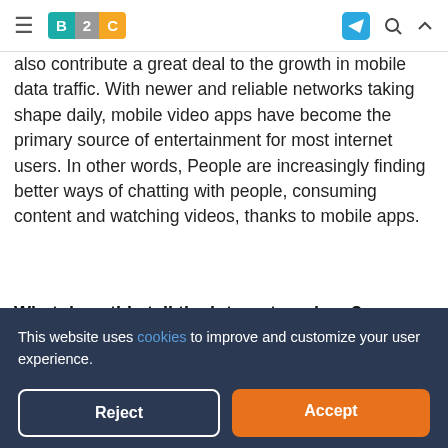B2C logo navigation bar with hamburger menu, telegram icon, search icon, and up arrow
also contribute a great deal to the growth in mobile data traffic. With newer and reliable networks taking shape daily, mobile video apps have become the primary source of entertainment for most internet users. In other words, People are increasingly finding better ways of chatting with people, consuming content and watching videos, thanks to mobile apps.
What does this tell the internet markers?
Certainly, there are many lessons for marketers regarding
This website uses cookies to improve and customize your user experience.
marketers. In other words, marketers should go where the